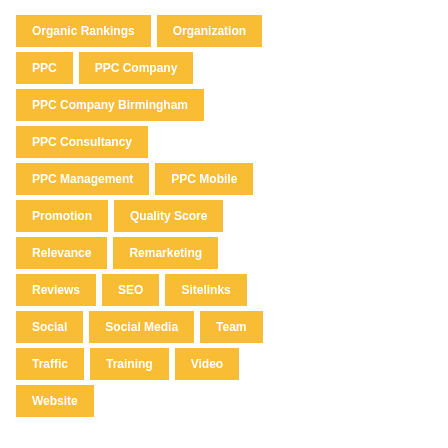[Figure (infographic): A tag cloud / list of SEO and digital marketing terms displayed as orange/yellow rectangular pill-shaped tags with white bold text, arranged in rows. Tags include: Organic Rankings, Organization, PPC, PPC Company, PPC Company Birmingham, PPC Consultancy, PPC Management, PPC Mobile, Promotion, Quality Score, Relevance, Remarketing, Reviews, SEO, Sitelinks, Social, Social Media, Team, Traffic, Training, Video, Website]